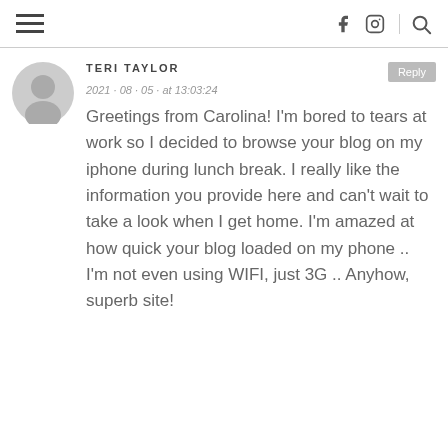≡  f  Instagram  🔍
TERI TAYLOR
2021 · 08 · 05 · at 13:03:24
Greetings from Carolina! I'm bored to tears at work so I decided to browse your blog on my iphone during lunch break. I really like the information you provide here and can't wait to take a look when I get home. I'm amazed at how quick your blog loaded on my phone .. I'm not even using WIFI, just 3G .. Anyhow, superb site!